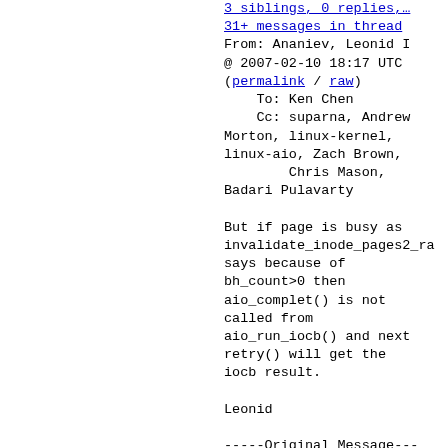3 siblings, 0 replies,…
31+ messages in thread
From: Ananiev, Leonid I
@ 2007-02-10 18:17 UTC
(permalink / raw)
    To: Ken Chen
    Cc: suparna, Andrew
Morton, linux-kernel,
linux-aio, Zach Brown,
        Chris Mason,
Badari Pulavarty

But if page is busy as
invalidate_inode_pages2_ra
says because of
bh_count>0 then
aio_complet() is not
called from
aio_run_iocb() and next
retry() will get the
iocb result.

Leonid

-----Original Message---
--
From: Ken Chen
[mailto:kenchen@google.com
Sent: Saturday, February
10, 2007 9:05 PM
To: Ananiev, Leonid I